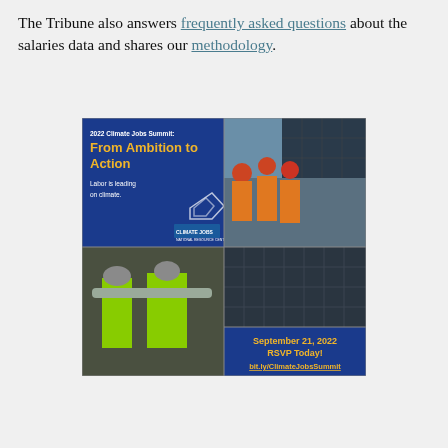The Tribune also answers frequently asked questions about the salaries data and shares our methodology.
[Figure (illustration): Advertisement for the 2022 Climate Jobs Summit: From Ambition to Action. Blue background panel with yellow text headline, white subtext 'Labor is leading on climate.' and Climate Jobs National Resource Center logo. Adjacent panels show workers in high-visibility vests installing solar panels and close-up of solar panels. Bottom right blue panel reads 'September 21, 2022 RSVP Today! bit.ly/ClimateJobsSummit' in yellow text.]